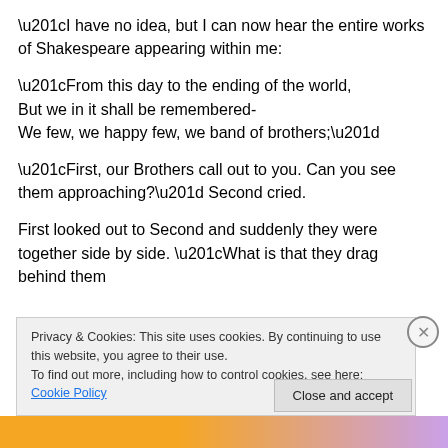“I have no idea, but I can now hear the entire works of Shakespeare appearing within me:
“From this day to the ending of the world,
But we in it shall be remembered-
We few, we happy few, we band of brothers;”
“First, our Brothers call out to you. Can you see them approaching?” Second cried.
First looked out to Second and suddenly they were together side by side. “What is that they drag behind them
Privacy & Cookies: This site uses cookies. By continuing to use this website, you agree to their use.
To find out more, including how to control cookies, see here: Cookie Policy